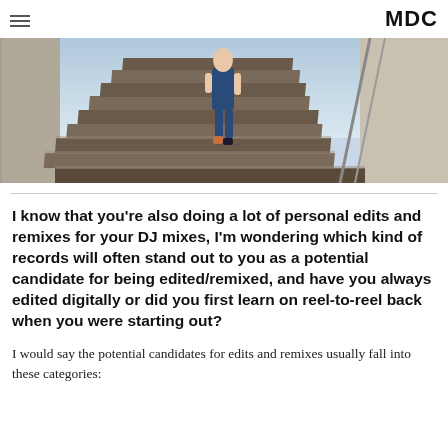MDC
[Figure (photo): Person walking up outdoor concrete stairs viewed from below, staircase with railing on right side, blue sky visible above.]
I know that you're also doing a lot of personal edits and remixes for your DJ mixes, I'm wondering which kind of records will often stand out to you as a potential candidate for being edited/remixed, and have you always edited digitally or did you first learn on reel-to-reel back when you were starting out?
I would say the potential candidates for edits and remixes usually fall into these categories: